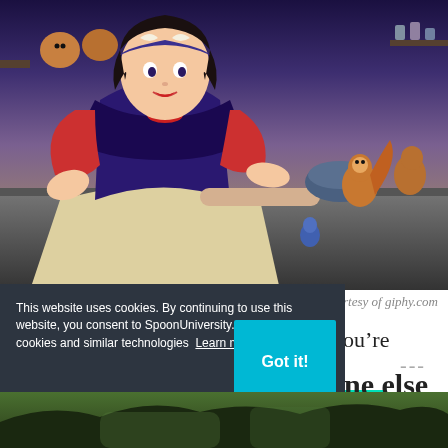[Figure (illustration): Animated Disney scene showing Snow White baking with chipmunks and forest animals in a kitchen setting]
Gif courtesy of giphy.com
You’re honestly the happiest when you’re baking,
[Figure (infographic): Advertisement banner reading GO AHEAD, play WITH YOUR FOOD on a teal/green gradient background]
This website uses cookies. By continuing to use this website, you consent to SpoonUniversity.com’s usage of cookies and similar technologies  Learn more
ne else
[Figure (photo): Partial view of another image at the bottom of the page showing a forest or outdoor scene]